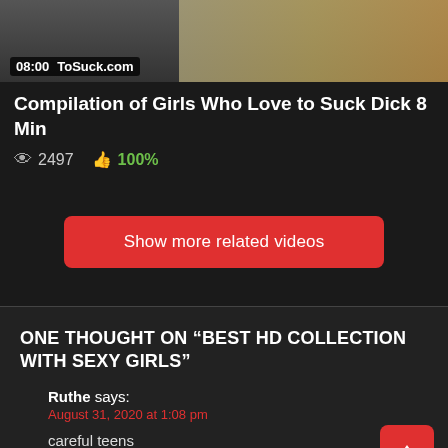[Figure (screenshot): Video thumbnail showing blonde hair, dark background, with timestamp 08:00 and watermark ToSuck.com]
Compilation of Girls Who Love to Suck Dick 8 Min
2497 views  100% likes
Show more related videos
ONE THOUGHT ON “BEST HD COLLECTION WITH SEXY GIRLS”
Ruthe says:
August 31, 2020 at 1:08 pm

careful teens

Reply